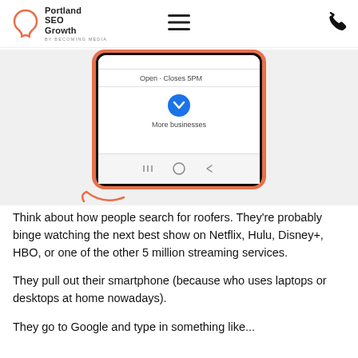[Figure (logo): Portland SEO Growth logo - orange hexagon-like shape with text 'Portland SEO Growth by Becoming Media']
[Figure (screenshot): Mobile phone screenshot showing Google Maps style interface with 'Open · Closes 5PM' text, a blue chevron button labeled 'More businesses', and Android navigation bar at bottom. Red/orange curved arrow annotation below.]
Think about how people search for roofers. They're probably binge watching the next best show on Netflix, Hulu, Disney+, HBO, or one of the other 5 million streaming services.
They pull out their smartphone (because who uses laptops or desktops at home nowadays).
They go to Google and type in something like...